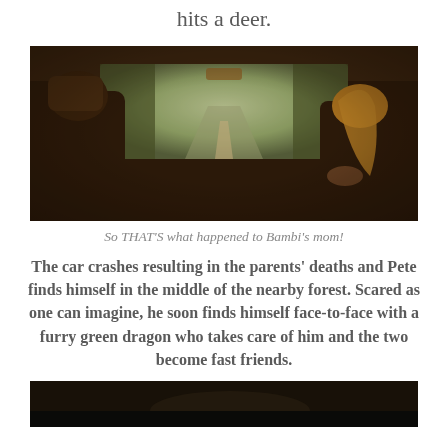hits a deer.
[Figure (photo): View from inside a car showing two people in the back seat and a road through a forested area visible through the windshield. The image is dark and warm-toned.]
So THAT'S what happened to Bambi's mom!
The car crashes resulting in the parents' deaths and Pete finds himself in the middle of the nearby forest. Scared as one can imagine, he soon finds himself face-to-face with a furry green dragon who takes care of him and the two become fast friends.
[Figure (photo): Dark image, partial view of what appears to be a second photograph, cropped at the bottom of the page.]